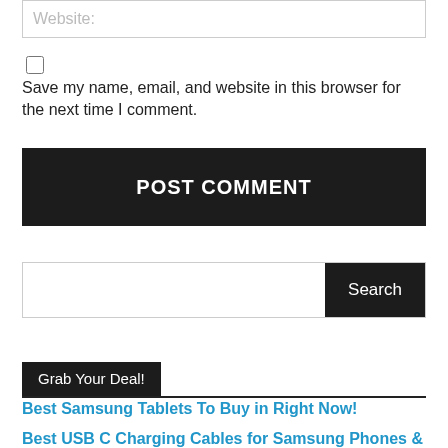Website:
Save my name, email, and website in this browser for the next time I comment.
POST COMMENT
Search
Grab Your Deal!
Best Samsung Tablets To Buy in Right Now!
Best USB C Charging Cables for Samsung Phones & Tablets